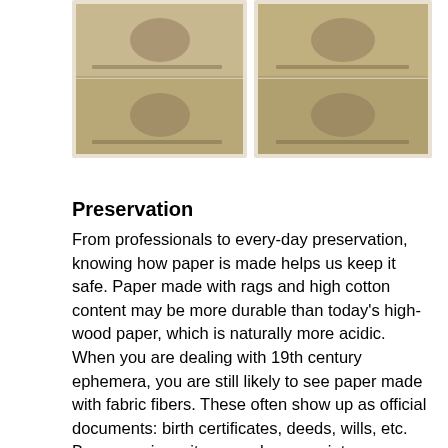[Figure (photo): Two side-by-side photographs of decorative paper ephemera items, appearing to show vintage greeting cards or scrapbook pages with illustrated scenes.]
Preservation
From professionals to every-day preservation, knowing how paper is made helps us keep it safe. Paper made with rags and high cotton content may be more durable than today's high-wood paper, which is naturally more acidic. When you are dealing with 19th century ephemera, you are still likely to see paper made with fabric fibers. These often show up as official documents: birth certificates, deeds, wills, etc. By comparison, items such as receipts, news-papers, and pamphlets were more temporary and did not require the long-term stability of rag paper.
To keep all types of paper safe, experts agree that you should keep your ephemera dry, as well as free of smoke, bright light, and pests. You should also always wash your